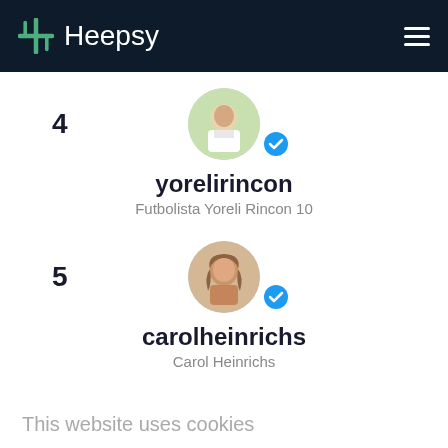Heepsy
4
[Figure (photo): Circular avatar photo of a soccer player in white uniform, with a blue verified checkmark badge]
yorelirincon
Futbolista Yoreli Rincon 10
5
[Figure (photo): Circular avatar photo of a woman with long wavy hair, with a blue verified checkmark badge]
carolheinrichs
Carol Heinrichs
This website uses cookies